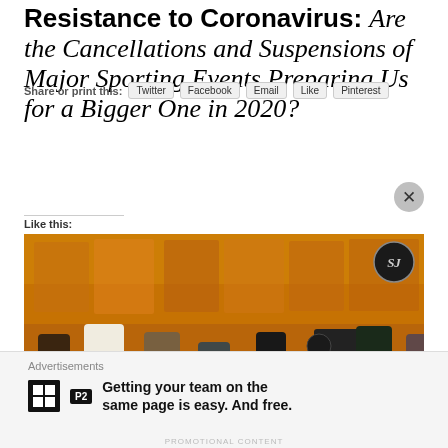Resistance to Coronavirus: Are the Cancellations and Suspensions of Major Sporting Events Preparing Us for a Bigger One in 2020?
Share or print this:
Twitter  Facebook  Email  Like  Pinterest
Like this:
[Figure (photo): Group of people seated and standing in a decorative orange/gold interior with a TV camera visible, appears to be a press event or broadcast setting. SJ logo visible in top right corner.]
Advertisements
Getting your team on the same page is easy. And free.